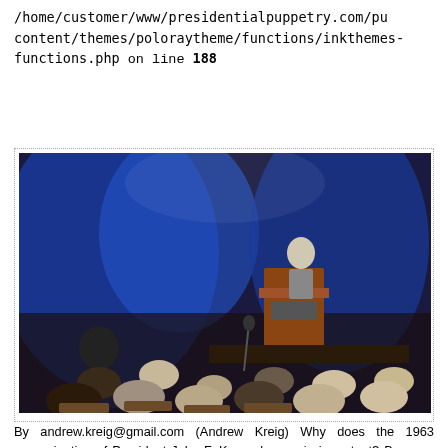/home/customer/www/presidentialpuppetry.com/pu content/themes/poloraytheme/functions/inkthemes-functions.php on line 188
[Figure (photo): Conference or lecture hall photo showing an audience seated in chairs viewed from behind, with a speaker at a wooden podium on a stage with blue curtain backdrop and stage lighting.]
By andrew.kreig@gmail.com (Andrew Kreig) Why does the 1963 assassination of President John F. Kennedy remain important? Because the main official findings and procedures have been tarnished if not discredited — as evident from four million pages of formerly confidential documents and two thousand